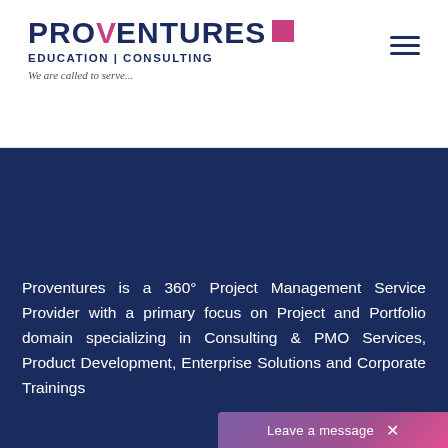[Figure (logo): Proventures Education | Consulting logo with pink square accent and tagline 'We are called to serve...']
Proventures is a 360° Project Management Service Provider with a primary focus on Project and Portfolio domain specializing in Consulting & PMO Services, Product Development, Enterprise Solutions and Corporate Trainings
Leave a message ×